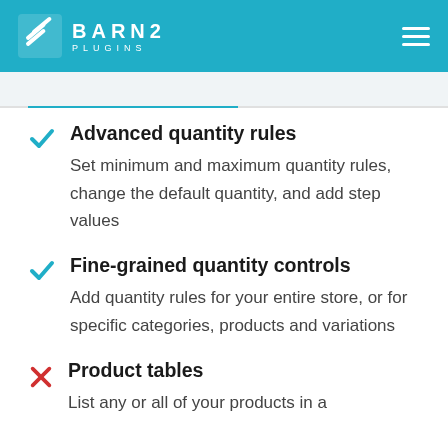BARN2 PLUGINS
Advanced quantity rules — Set minimum and maximum quantity rules, change the default quantity, and add step values
Fine-grained quantity controls — Add quantity rules for your entire store, or for specific categories, products and variations
Product tables — List any or all of your products in a